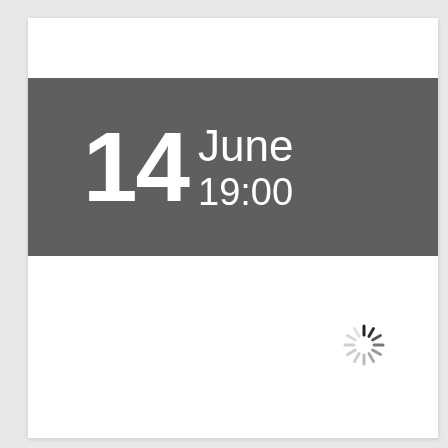[Figure (screenshot): A web page screenshot showing a date banner with '14 June 19:00' on a dark gray background, and a loading spinner icon below and to the right.]